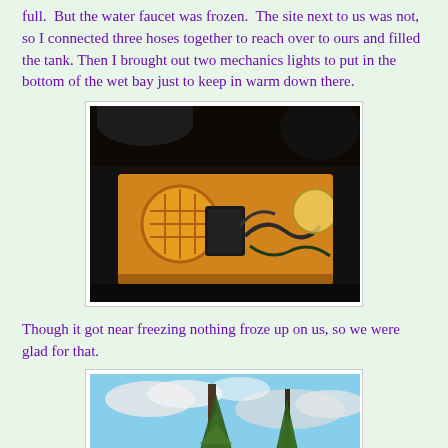full.  But the water faucet was frozen.  The site next to us was not, so I connected three hoses together to reach over to ours and filled the tank. Then I brought out two mechanics lights to put in the bottom of the wet bay just to keep in warm down there.
[Figure (photo): Photo of an RV wet bay compartment open, showing two mechanics work lights glowing orange/yellow inside the compartment with hoses and electrical components visible.]
Though it got near freezing nothing froze up on us, so we were glad for that.
[Figure (photo): Photo of tall pine trees against a partly cloudy blue sky.]